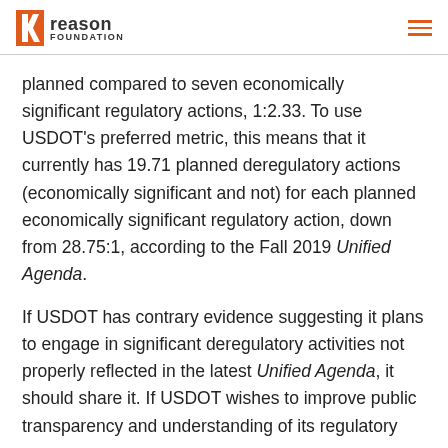Reason Foundation
planned compared to seven economically significant regulatory actions, 1:2.33. To use USDOT’s preferred metric, this means that it currently has 19.71 planned deregulatory actions (economically significant and not) for each planned economically significant regulatory action, down from 28.75:1, according to the Fall 2019 Unified Agenda.
If USDOT has contrary evidence suggesting it plans to engage in significant deregulatory activities not properly reflected in the latest Unified Agenda, it should share it. If USDOT wishes to improve public transparency and understanding of its regulatory